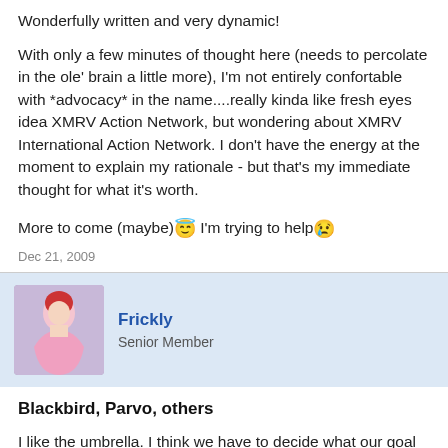Wonderfully written and very dynamic!
With only a few minutes of thought here (needs to percolate in the ole' brain a little more), I'm not entirely confortable with *advocacy* in the name....really kinda like fresh eyes idea XMRV Action Network, but wondering about XMRV International Action Network. I don't have the energy at the moment to explain my rationale - but that's my immediate thought for what it's worth.
More to come (maybe) I'm trying to help
Dec 21, 2009
Frickly
Senior Member
Blackbird, Parvo, others
I like the umbrella. I think we have to decide what our goal is here. I think many of these groups have no idea that their